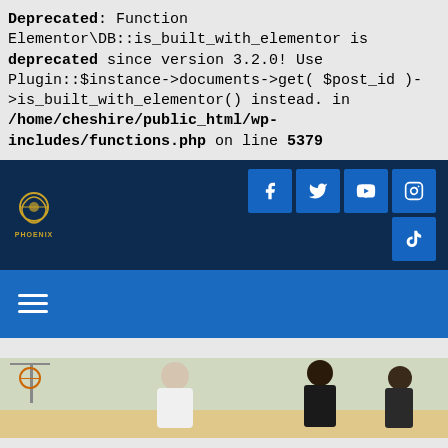Deprecated: Function Elementor\DB::is_built_with_elementor is deprecated since version 3.2.0! Use Plugin::$instance->documents->get( $post_id )->is_built_with_elementor() instead. in /home/cheshire/public_html/wp-includes/functions.php on line 5379
[Figure (screenshot): Dark navy website header bar with a Phoenix logo on the left and social media icons (Facebook, Twitter, YouTube, Instagram, TikTok) on the right]
[Figure (screenshot): Blue navigation bar with a hamburger menu icon on the left]
[Figure (photo): Basketball players on a court, partial image visible at the bottom]